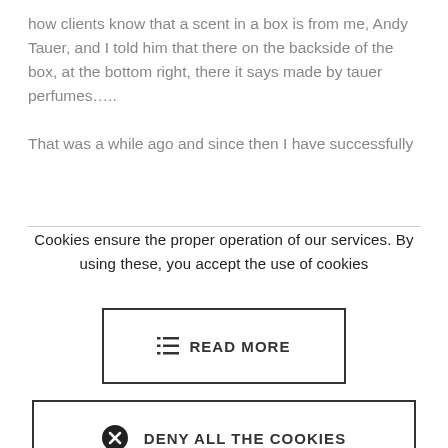how clients know that a scent in a box is from me, Andy Tauer, and I told him that there on the backside of the box, at the bottom right, there it says made by tauer perfumes…..
That was a while ago and since then I have successfully
Cookies ensure the proper operation of our services. By using these, you accept the use of cookies
[Figure (screenshot): READ MORE button with list icon, outlined rectangle]
[Figure (screenshot): DENY ALL THE COOKIES button with X circle icon, outlined rectangle]
[Figure (screenshot): ALLOW ALL THE COOKIES button with checkmark circle icon, dark navy background]